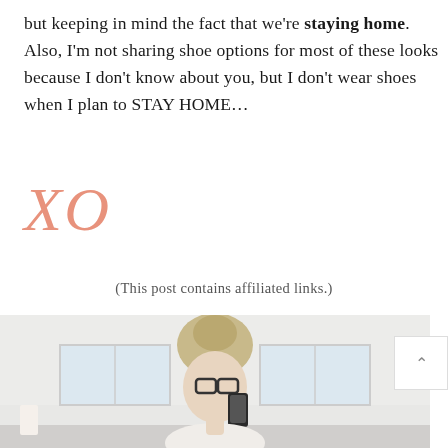but keeping in mind the fact that we're staying home. Also, I'm not sharing shoe options for most of these looks because I don't know about you, but I don't wear shoes when I plan to STAY HOME…
XO
(This post contains affiliated links.)
[Figure (photo): Woman with blonde hair in messy bun wearing glasses taking a mirror selfie with her phone in a bright white room]